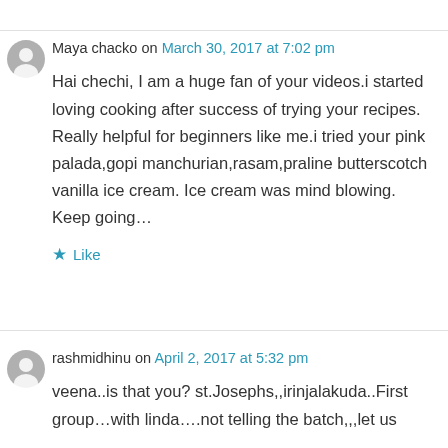Maya chacko on March 30, 2017 at 7:02 pm
Hai chechi, I am a huge fan of your videos.i started loving cooking after success of trying your recipes. Really helpful for beginners like me.i tried your pink palada,gopi manchurian,rasam,praline butterscotch vanilla ice cream. Ice cream was mind blowing. Keep going…
Like
rashmidhinu on April 2, 2017 at 5:32 pm
veena..is that you? st.Josephs,,irinjalakuda..First group…with linda….not telling the batch,,,let us